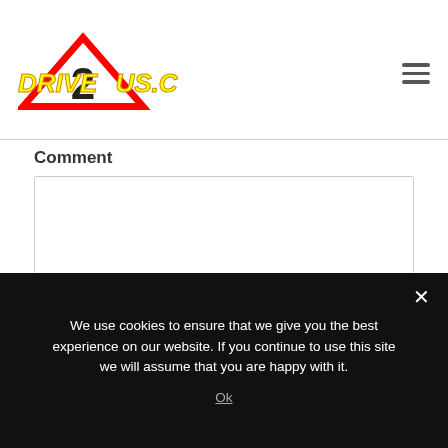[Figure (logo): Drive2us.com logo with red triangle warning sign and yellow stylized text]
Comment
[Figure (screenshot): Comment text area input field (empty)]
Name *
[Figure (screenshot): Name text input field (empty)]
Email*
We use cookies to ensure that we give you the best experience on our website. If you continue to use this site we will assume that you are happy with it.
Ok